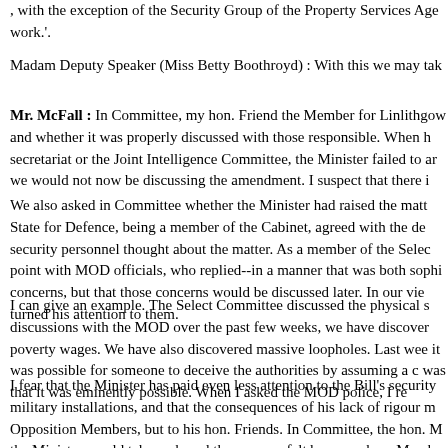, with the exception of the Security Group of the Property Services Age work.'.
Madam Deputy Speaker (Miss Betty Boothroyd) : With this we may tak
Mr. McFall : In Committee, my hon. Friend the Member for Linlithgow and whether it was properly discussed with those responsible. When h secretariat or the Joint Intelligence Committee, the Minister failed to ar we would not now be discussing the amendment. I suspect that there i
We also asked in Committee whether the Minister had raised the matt State for Defence, being a member of the Cabinet, agreed with the de security personnel thought about the matter. As a member of the Selec point with MOD officials, who replied--in a manner that was both sophi concerns, but that those concerns would be discussed later. In our vie turned his attention to them.
I can give an example. The Select Committee discussed the physical s discussions with the MOD over the past few weeks, we have discover poverty wages. We have also discovered massive loopholes. Last wee it was possible for someone to deceive the authorities by assuming a c was that it was eminently possible. When I asked the MOD police, I re
I fear that the Minister has paid even less attention to the Bill's security military installations, and that the consequences of his lack of rigour m Opposition Members, but to his hon. Friends. In Committee, the hon. M the Minister would take on board the concern felt by many hon. Memb
The Minister himself said in Committee that the majority of the PSA's v sensitive : for example, more than two thirds of its new construction ar submarine base in my constituency, where 110 major projects are curr